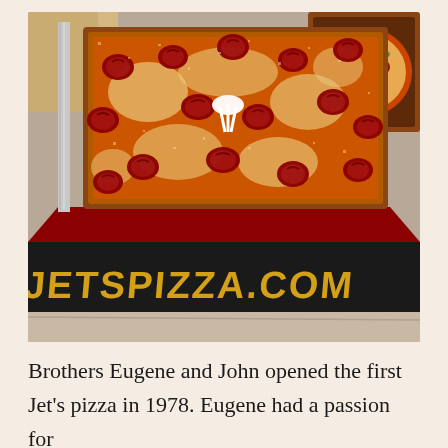[Figure (photo): A square pepperoni pizza from Jet's Pizza in an open cardboard pizza box. The pizza box has 'JETSPIZZA.COM' printed on the front in bold gold letters on a dark background. The pizza is heavily topped with curled pepperoni slices and seasoning. A white plastic pizza table saver is visible in the center. Another pizza in a box is partially visible in the upper right corner. The box sits on a wooden surface.]
Brothers Eugene and John opened the first Jet's pizza in 1978. Eugene had a passion for